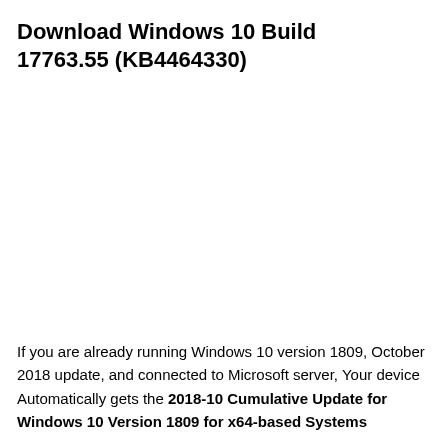Download Windows 10 Build 17763.55 (KB4464330)
If you are already running Windows 10 version 1809, October 2018 update, and connected to Microsoft server, Your device Automatically gets the 2018-10 Cumulative Update for Windows 10 Version 1809 for x64-based Systems